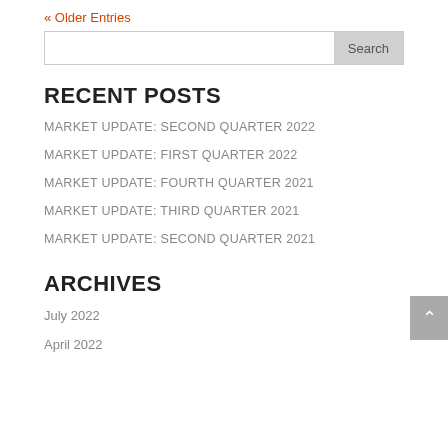« Older Entries
RECENT POSTS
MARKET UPDATE: SECOND QUARTER 2022
MARKET UPDATE: FIRST QUARTER 2022
MARKET UPDATE: FOURTH QUARTER 2021
MARKET UPDATE: THIRD QUARTER 2021
MARKET UPDATE: SECOND QUARTER 2021
ARCHIVES
July 2022
April 2022